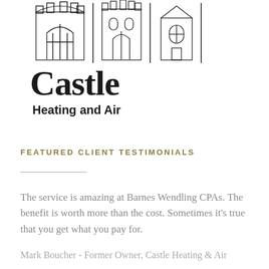[Figure (logo): Castle Heating and Air logo with illustrated castle/building silhouettes and vertical dividers at top]
Castle
Heating and Air
FEATURED CLIENT TESTIMONIALS
The service is amazing at Barnes Wendling CPAs. The benefit is worth more than the cost. Sometimes it's true that you get what you pay for.
Mark Boucher - Former Owner, Castle Heating & Air